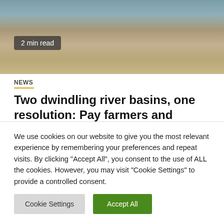[Figure (photo): Aerial or close-up photo of a river bank or dry river basin area with water, rocks, and dry soil visible.]
2 min read
NEWS
Two dwindling river basins, one resolution: Pay farmers and ranchers to make use of much less water
8 months ago   Rossetlyan
We use cookies on our website to give you the most relevant experience by remembering your preferences and repeat visits. By clicking "Accept All", you consent to the use of ALL the cookies. However, you may visit "Cookie Settings" to provide a controlled consent.